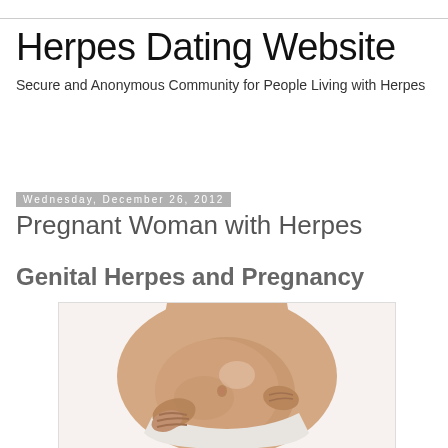Herpes Dating Website
Secure and Anonymous Community for People Living with Herpes
Wednesday, December 26, 2012
Pregnant Woman with Herpes
Genital Herpes and Pregnancy
[Figure (photo): Photo of a pregnant woman in white underwear holding her bare belly with both hands, shown from neck to mid-thigh, white background]